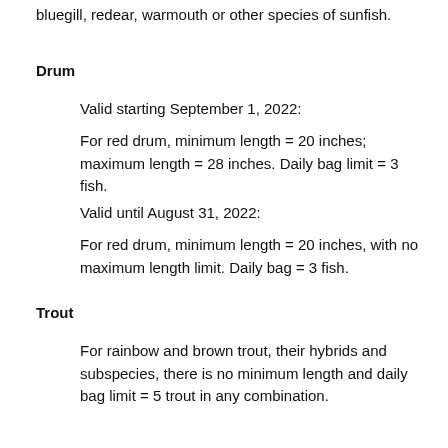bluegill, redear, warmouth or other species of sunfish.
Drum
Valid starting September 1, 2022:
For red drum, minimum length = 20 inches; maximum length = 28 inches. Daily bag limit = 3 fish.
Valid until August 31, 2022:
For red drum, minimum length = 20 inches, with no maximum length limit. Daily bag = 3 fish.
Trout
For rainbow and brown trout, their hybrids and subspecies, there is no minimum length and daily bag limit = 5 trout in any combination.